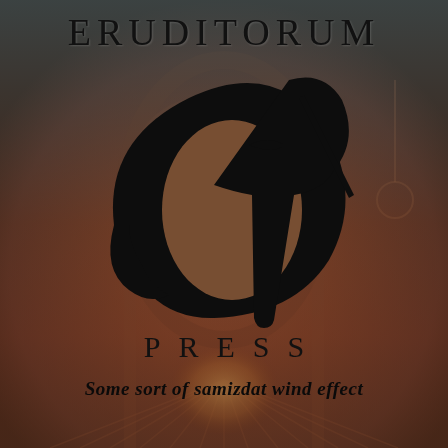[Figure (logo): Eruditorum Press logo: stylized 'EP' calligraphic monogram in black, with artistic background illustration of a figure]
ERUDITORUM
PRESS
Some sort of samizdat wind effect